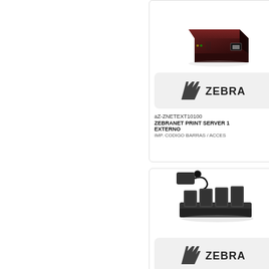[Figure (photo): Dark brown/maroon Zebra ZebraNet external print server device with ethernet port, viewed from above at angle]
[Figure (logo): Zebra Technologies logo in rounded rectangle box]
aZ-ZNETEXT10100
ZEBRANET PRINT SERVER 1
EXTERNO
IMP. CODIGO BARRAS / ACCES
[Figure (photo): Zebra 4-slot battery charger dock with power adapter and cable, black]
[Figure (logo): Zebra Technologies logo in rounded rectangle box]
Z-ZBAACB4LEE